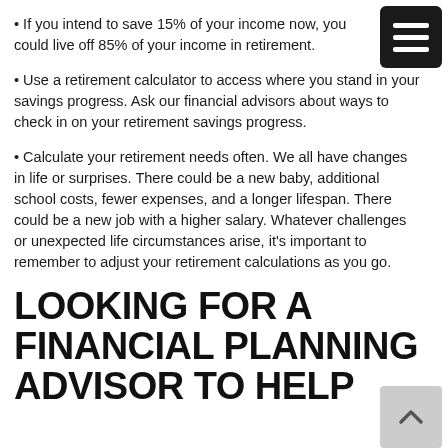• If you intend to save 15% of your income now, you could live off 85% of your income in retirement.
• Use a retirement calculator to access where you stand in your savings progress. Ask our financial advisors about ways to check in on your retirement savings progress.
• Calculate your retirement needs often. We all have changes in life or surprises. There could be a new baby, additional school costs, fewer expenses, and a longer lifespan. There could be a new job with a higher salary. Whatever challenges or unexpected life circumstances arise, it's important to remember to adjust your retirement calculations as you go.
LOOKING FOR A FINANCIAL PLANNING ADVISOR TO HELP